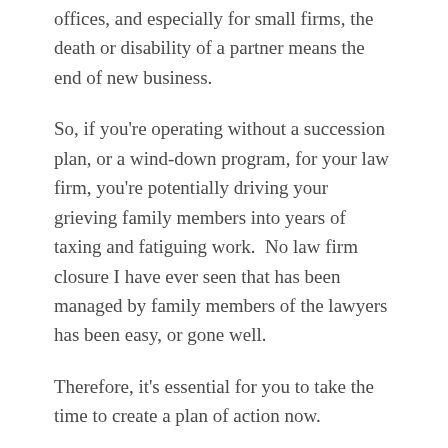offices, and especially for small firms, the death or disability of a partner means the end of new business.
So, if you're operating without a succession plan, or a wind-down program, for your law firm, you're potentially driving your grieving family members into years of taxing and fatiguing work.  No law firm closure I have ever seen that has been managed by family members of the lawyers has been easy, or gone well.
Therefore, it's essential for you to take the time to create a plan of action now.
Fortunately, there are a number of resources available, including some bar association-designed productions, that have been made publicly available, that should help